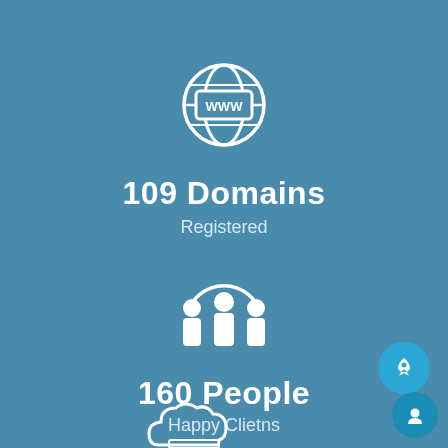[Figure (infographic): White globe/www icon centered at top]
109 Domains
Registered
[Figure (infographic): White group of people/clients icon centered]
160 People
Happy Clietns
[Figure (infographic): White cloud/server icon at bottom center]
[Figure (infographic): Circular blue rocket button at bottom right]
[Figure (infographic): Circular dark blue chat/person button at bottom right corner]